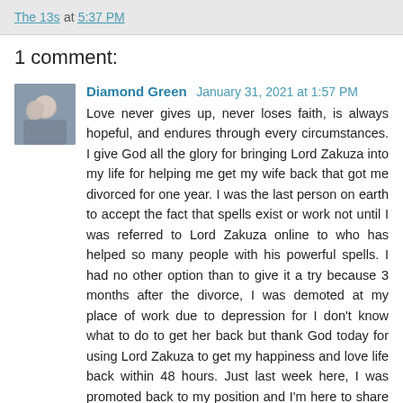The 13s at 5:37 PM
1 comment:
Diamond Green January 31, 2021 at 1:57 PM
Love never gives up, never loses faith, is always hopeful, and endures through every circumstances. I give God all the glory for bringing Lord Zakuza into my life for helping me get my wife back that got me divorced for one year. I was the last person on earth to accept the fact that spells exist or work not until I was referred to Lord Zakuza online to who has helped so many people with his powerful spells. I had no other option than to give it a try because 3 months after the divorce, I was demoted at my place of work due to depression for I don't know what to do to get her back but thank God today for using Lord Zakuza to get my happiness and love life back within 48 hours. Just last week here, I was promoted back to my position and I'm here to share my own experience with this man called Lord Zakuza. I don't know what you are going through today but